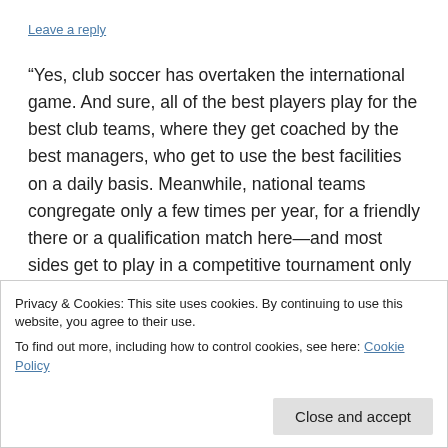Leave a reply
“Yes, club soccer has overtaken the international game. And sure, all of the best players play for the best club teams, where they get coached by the best managers, who get to use the best facilities on a daily basis. Meanwhile, national teams congregate only a few times per year, for a friendly there or a qualification match here—and most sides get to play in a competitive tournament only once every 24 months. That’s why a tactic like pressing—swarming your opponent while they have the ball in their own defensive third—has dominated the club game but will be a rare sight in Russia this
Privacy & Cookies: This site uses cookies. By continuing to use this website, you agree to their use.
To find out more, including how to control cookies, see here: Cookie Policy
Close and accept